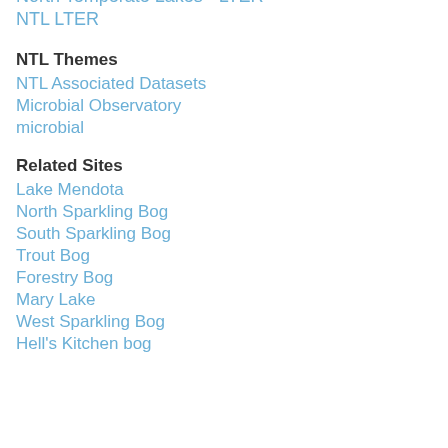North Temperate Lakes - LTER
NTL LTER
NTL Themes
NTL Associated Datasets
Microbial Observatory
microbial
Related Sites
Lake Mendota
North Sparkling Bog
South Sparkling Bog
Trout Bog
Forestry Bog
Mary Lake
West Sparkling Bog
Hell's Kitchen bog